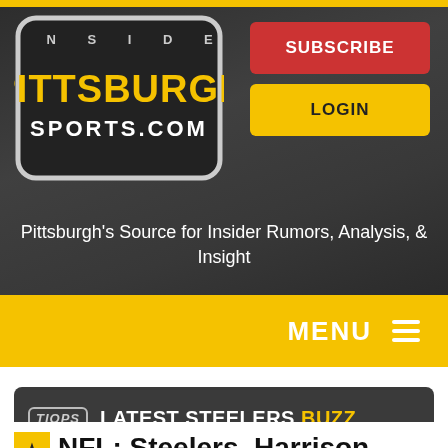[Figure (logo): Inside Pittsburgh Sports .com logo with yellow PITTSBURGH text on dark rounded rectangle badge]
SUBSCRIBE
LOGIN
Pittsburgh's Source for Insider Rumors, Analysis, & Insight
MENU ≡
TIOPS LATEST STEELERS BUZZ
★ NFL: Steelers, Harrison $11-$15 million apart in guaranteed money